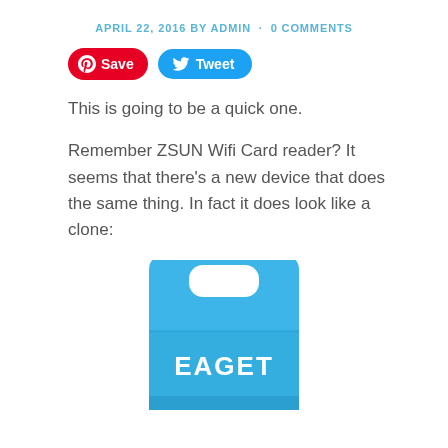APRIL 22, 2016 BY ADMIN · 0 COMMENTS
[Figure (other): Social sharing buttons: Pinterest Save button (red) and Twitter Tweet button (blue)]
This is going to be a quick one.
Remember ZSUN Wifi Card reader? It seems that there's a new device that does the same thing. In fact it does look like a clone:
[Figure (photo): Photo of a blue EAGET WiFi card reader device, rectangular with rounded top handle cutout, branded with EAGET logo in white text]